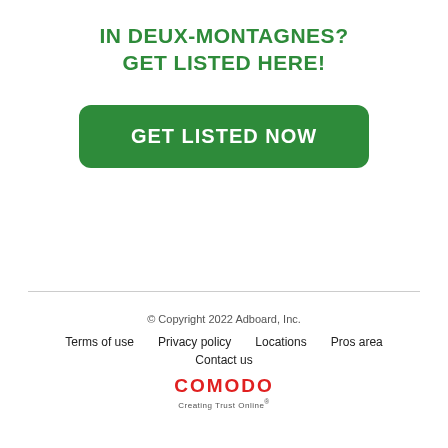IN DEUX-MONTAGNES?
GET LISTED HERE!
[Figure (other): Green rounded button labeled GET LISTED NOW]
© Copyright 2022 Adboard, Inc.
Terms of use   Privacy policy   Locations   Pros area
Contact us
COMODO Creating Trust Online®